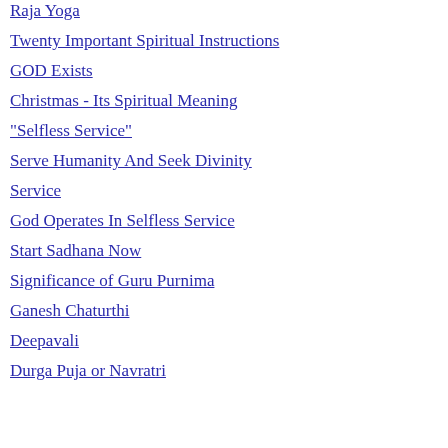Raja Yoga
Twenty Important Spiritual Instructions
GOD Exists
Christmas - Its Spiritual Meaning
"Selfless Service"
Serve Humanity And Seek Divinity
Service
God Operates In Selfless Service
Start Sadhana Now
Significance of Guru Purnima
Ganesh Chaturthi
Deepavali
Durga Puja or Navratri